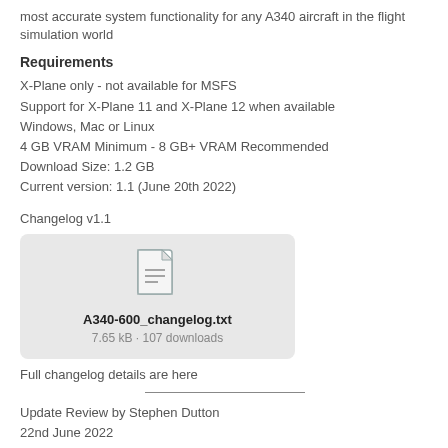most accurate system functionality for any A340 aircraft in the flight simulation world
Requirements
X-Plane only - not available for MSFS
Support for X-Plane 11 and X-Plane 12 when available
Windows, Mac or Linux
4 GB VRAM Minimum - 8 GB+ VRAM Recommended
Download Size: 1.2 GB
Current version: 1.1  (June 20th 2022)
Changelog v1.1
[Figure (other): File download card for A340-600_changelog.txt, showing a document icon, filename, file size 7.65 kB, and 107 downloads]
Full changelog details are here
Update Review by Stephen Dutton
22nd June 2022